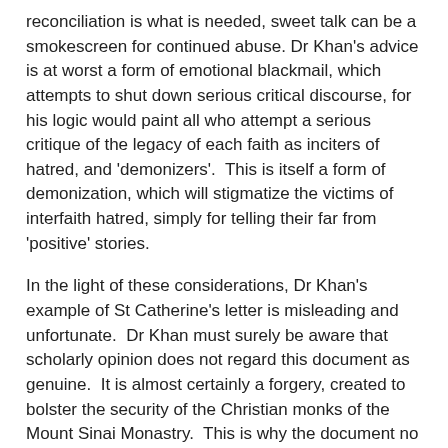reconciliation is what is needed, sweet talk can be a smokescreen for continued abuse. Dr Khan's advice is at worst a form of emotional blackmail, which attempts to shut down serious critical discourse, for his logic would paint all who attempt a serious critique of the legacy of each faith as inciters of hatred, and 'demonizers'.  This is itself a form of demonization, which will stigmatize the victims of interfaith hatred, simply for telling their far from 'positive' stories.
In the light of these considerations, Dr Khan's example of St Catherine's letter is misleading and unfortunate.  Dr Khan must surely be aware that scholarly opinion does not regard this document as genuine.  It is almost certainly a forgery, created to bolster the security of the Christian monks of the Mount Sinai Monastry.  This is why the document no longer exists in its original form: there never was an original letter.  In reality the very existence of this document is evidence of the fear under which the monks have lived, as are the impregnable walls of the monastery building itself.
Dr Khan must also be aware that this letter is in conflict at several points with classical Islamic sources, including the